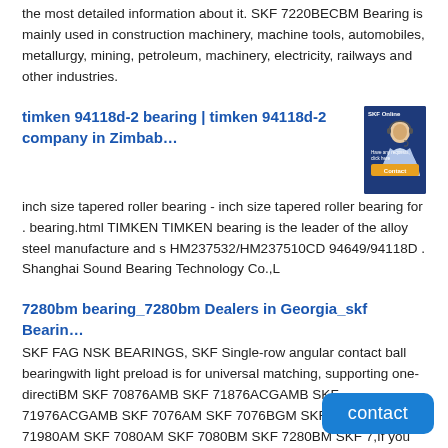the most detailed information about it. SKF 7220BECBM Bearing is mainly used in construction machinery, machine tools, automobiles, metallurgy, mining, petroleum, machinery, electricity, railways and other industries.
timken 94118d-2 bearing | timken 94118d-2 company in Zimbab…
[Figure (photo): SKF customer service representative photo with SKF logo and orange button]
inch size tapered roller bearing - inch size tapered roller bearing for . bearing.html TIMKEN TIMKEN bearing is the leader of the alloy steel manufacture and s HM237532/HM237510CD 94649/94118D . Shanghai Sound Bearing Technology Co.,L
7280bm bearing_7280bm Dealers in Georgia_skf Bearin…
SKF FAG NSK BEARINGS, SKF Single-row angular contact ball bearingwith light preload is for universal matching, supporting one-directiBM SKF 70876AMB SKF 71876ACGAMB SKF 71976ACGAMB SKF 7076AM SKF 7076BGM SKF 7076BM SKF 71980AM SKF 7080AM SKF 7080BM SKF 7280BM SKF 7,If you want to know skf 7280bm bearing's Dealers in Georgia.Please contact us.
SKF 7080BM bearing High demand Quality 7080BM beari…
Our quality SKF 7080BM bearing is top in the world. We h now. Delivery time: 5-7days. SKF Qs – Quality standard f 5.0, applies to suppliers of products that have an impact on the quality of